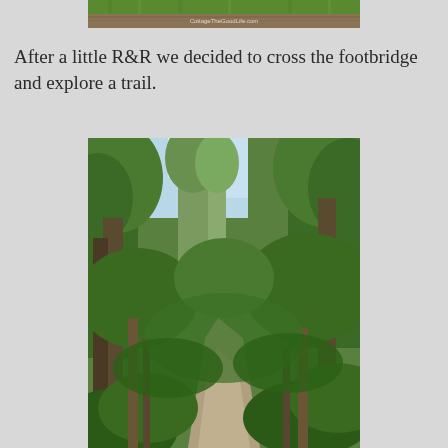[Figure (photo): Partial top image showing grass and wooden surface with watermark text 'CottageTheGoodLife.com']
After a little R&R we decided to cross the footbridge and explore a trail.
[Figure (photo): A forested trail winding through dense green trees with a dirt path leading into the distance]